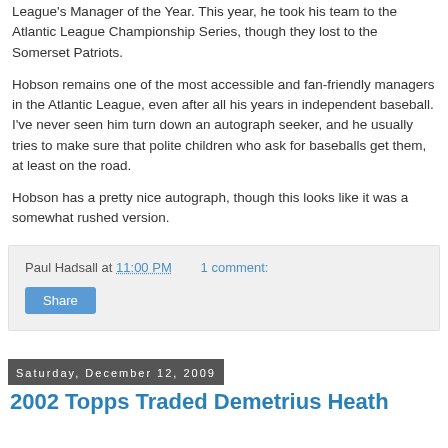League's Manager of the Year. This year, he took his team to the Atlantic League Championship Series, though they lost to the Somerset Patriots.
Hobson remains one of the most accessible and fan-friendly managers in the Atlantic League, even after all his years in independent baseball. I've never seen him turn down an autograph seeker, and he usually tries to make sure that polite children who ask for baseballs get them, at least on the road.
Hobson has a pretty nice autograph, though this looks like it was a somewhat rushed version.
Paul Hadsall at 11:00 PM   1 comment:
Share
Saturday, December 12, 2009
2002 Topps Traded Demetrius Heath